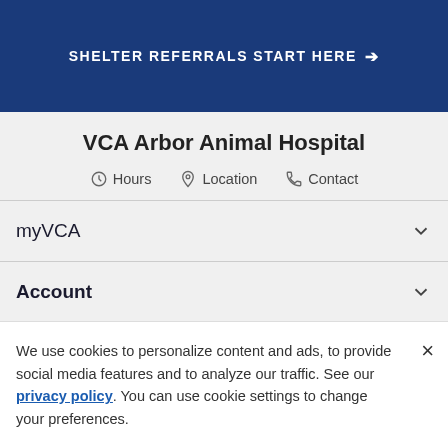SHELTER REFERRALS START HERE →
VCA Arbor Animal Hospital
Hours   Location   Contact
myVCA
Account
VCA Hospitals
We use cookies to personalize content and ads, to provide social media features and to analyze our traffic. See our privacy policy. You can use cookie settings to change your preferences.